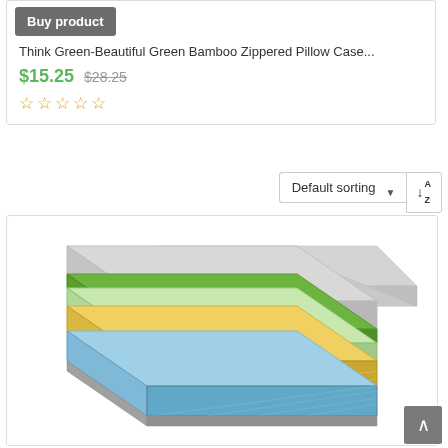Buy product
Think Green-Beautiful Green Bamboo Zippered Pillow Case...
$15.25  $28.25
★★★★★ (empty stars)
Default sorting
[Figure (illustration): 3D cross-section illustration of a mattress showing multiple foam layers: top grey cover, green foam layer, light green/cream layer, yellow foam layer, and light blue base layer stacked at an angle.]